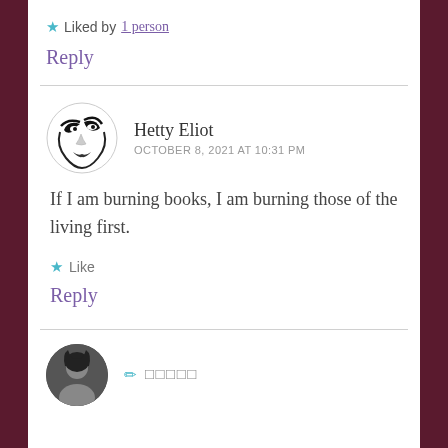★ Liked by 1 person
Reply
Hetty Eliot
OCTOBER 8, 2021 AT 10:31 PM
If I am burning books, I am burning those of the living first.
★ Like
Reply
✏ □□□□□